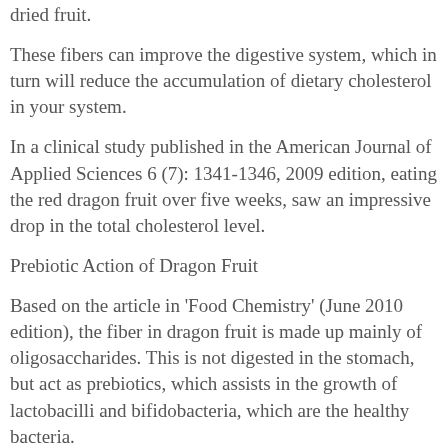dried fruit.
These fibers can improve the digestive system, which in turn will reduce the accumulation of dietary cholesterol in your system.
In a clinical study published in the American Journal of Applied Sciences 6 (7): 1341-1346, 2009 edition, eating the red dragon fruit over five weeks, saw an impressive drop in the total cholesterol level.
Prebiotic Action of Dragon Fruit
Based on the article in 'Food Chemistry' (June 2010 edition), the fiber in dragon fruit is made up mainly of oligosaccharides. This is not digested in the stomach, but act as prebiotics, which assists in the growth of lactobacilli and bifidobacteria, which are the healthy bacteria.
When taken in the right amount, these microorganisms